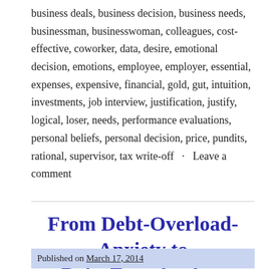business deals, business decision, business needs, businessman, businesswoman, colleagues, cost-effective, coworker, data, desire, emotional decision, emotions, employee, employer, essential, expenses, expensive, financial, gold, gut, intuition, investments, job interview, justification, justify, logical, loser, needs, performance evaluations, personal beliefs, personal decision, price, pundits, rational, supervisor, tax write-off · Leave a comment
From Debt-Overload-Anxiety to Debt-Free-Anxiety
Published on March 17, 2014